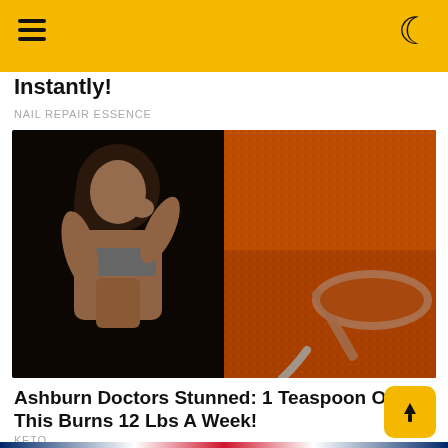Navigation bar with hamburger menu and moon/dark-mode icon on yellow background
Instantly!
NAIL REPAIR ESSENCE
[Figure (photo): Left half: muscular woman in sports bra on dark background. Right half: close-up of orange spice powder on a silver spoon.]
Ashburn Doctors Stunned: 1 Teaspoon Of This Burns 12 Lbs A Week!
KETO
[Figure (photo): Partial view of British Union Jack flag at bottom of page.]